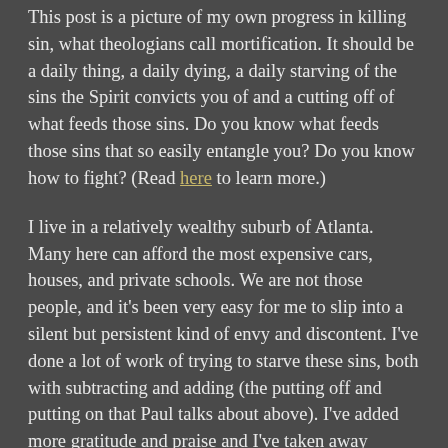This post is a picture of my own progress in killing sin, what theologians call mortification. It should be a daily thing, a daily dying, a daily starving of the sins the Spirit convicts you of and a cutting off of what feeds those sins. Do you know what feeds those sins that so easily entangle you? Do you know how to fight? (Read here to learn more.)
I live in a relatively wealthy suburb of Atlanta. Many here can afford the most expensive cars, houses, and private schools. We are not those people, and it's been very easy for me to slip into a silent but persistent kind of envy and discontent. I've done a lot of work of trying to starve these sins, both with subtracting and adding (the putting off and putting on that Paul talks about above). I've added more gratitude and praise and I've taken away certain things on social media. By the power of God's grace